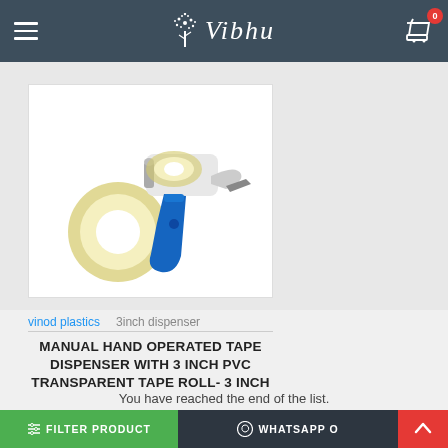Vibhu
[Figure (photo): Manual hand operated tape dispenser with a blue handle, with a roll of transparent PVC tape beside it, on white background.]
vinod plastics   3inch dispenser
MANUAL HAND OPERATED TAPE DISPENSER WITH 3 INCH PVC TRANSPARENT TAPE ROLL- 3 INCH
₹300.00
Buy Now
FILTER PRODUCTS
WHATSAPP O
You have reached the end of the list.